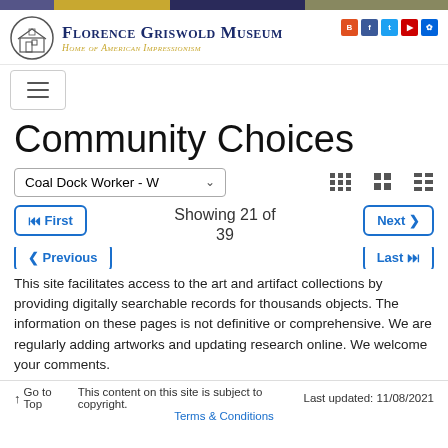[Figure (screenshot): Florence Griswold Museum website header with logo, museum name, tagline 'Home of American Impressionism', and social media icons]
[Figure (other): Hamburger menu navigation button]
Community Choices
Coal Dock Worker - W  [dropdown] [grid view icons]
First  Showing 21 of 39  Next
Previous  Last
This site facilitates access to the art and artifact collections by providing digitally searchable records for thousands objects. The information on these pages is not definitive or comprehensive. We are regularly adding artworks and updating research online. We welcome your comments.
↑ Go to Top   This content on this site is subject to copyright.   Last updated: 11/08/2021
Terms & Conditions